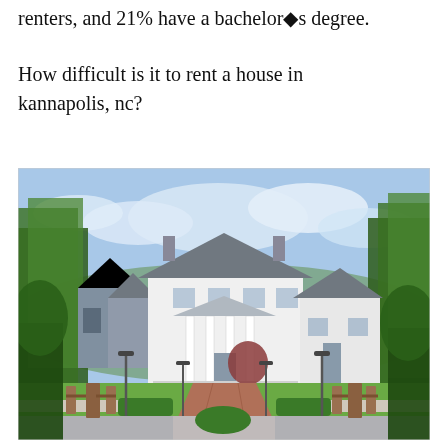renters, and 21% have a bachelor◆s degree.
How difficult is it to rent a house in kannapolis, nc?
[Figure (photo): Photograph of a suburban neighborhood in Kannapolis, NC featuring a large white colonial-style house with columns at the center, flanked by other residential homes, surrounded by green trees and manicured landscaping, with a brick-paved entrance road and street lamps in the foreground under a partly cloudy blue sky.]